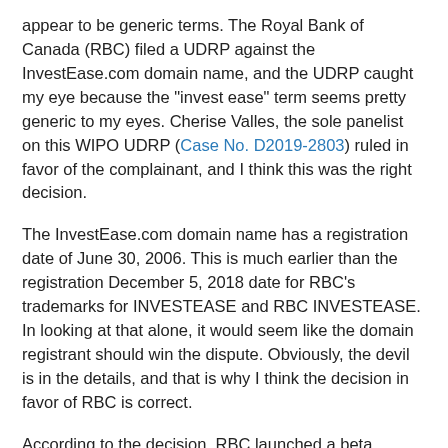appear to be generic terms. The Royal Bank of Canada (RBC) filed a UDRP against the InvestEase.com domain name, and the UDRP caught my eye because the "invest ease" term seems pretty generic to my eyes. Cherise Valles, the sole panelist on this WIPO UDRP (Case No. D2019-2803) ruled in favor of the complainant, and I think this was the right decision.
The InvestEase.com domain name has a registration date of June 30, 2006. This is much earlier than the registration December 5, 2018 date for RBC's trademarks for INVESTEASE and RBC INVESTEASE. In looking at that alone, it would seem like the domain registrant should win the dispute. Obviously, the devil is in the details, and that is why I think the decision in favor of RBC is correct.
According to the decision, RBC launched a beta version of its platform on November 15, 2017. The registrant reportedly acquired the domain name on November 15, 2017. The domain name was then used by the registrant as a forwarder to its own